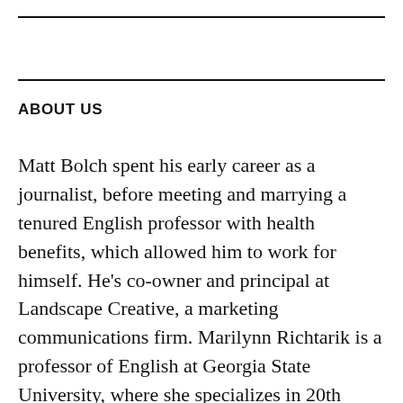ABOUT US
Matt Bolch spent his early career as a journalist, before meeting and marrying a tenured English professor with health benefits, which allowed him to work for himself. He's co-owner and principal at Landscape Creative, a marketing communications firm. Marilynn Richtarik is a professor of English at Georgia State University, where she specializes in 20th century English and Irish literature. Their son, Declan, is a seventh-grader who enjoys football (the world kind) in all of its forms. Marilynn